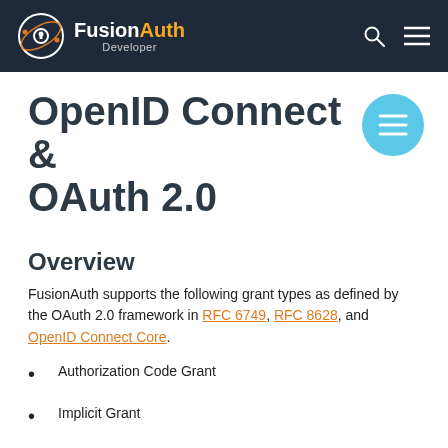FusionAuth Developer
OpenID Connect & OAuth 2.0
Overview
FusionAuth supports the following grant types as defined by the OAuth 2.0 framework in RFC 6749, RFC 8628, and OpenID Connect Core.
Authorization Code Grant
Implicit Grant
Password Grant (also referred to as the Resource Owner Credentials Grant)